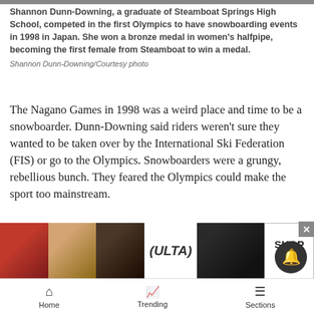Shannon Dunn-Downing, a graduate of Steamboat Springs High School, competed in the first Olympics to have snowboarding events in 1998 in Japan. She won a bronze medal in women's halfpipe, becoming the first female from Steamboat to win a medal.
Shannon Dunn-Downing/Courtesy photo
The Nagano Games in 1998 was a weird place and time to be a snowboarder. Dunn-Downing said riders weren't sure they wanted to be taken over by the International Ski Federation (FIS) or go to the Olympics. Snowboarders were a grungy, rebellious bunch. They feared the Olympics could make the sport too mainstream.
She said it's wild to think about the growth of snowb... most-
[Figure (other): Advertisement banner for ULTA Beauty showing makeup-themed images with a SHOP NOW call to action]
Home   Trending   Sections